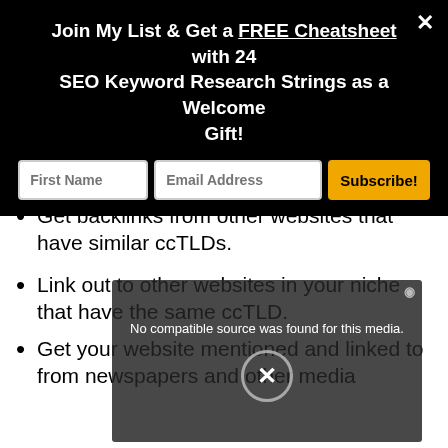Join My List & Get a FREE Cheatsheet with 24 SEO Keyword Research Strings as a Welcome Gift!
office(s).
Get backlinks from other websites that have similar ccTLDs.
[Figure (screenshot): Video player overlay showing 'No compatible source was found for this media.' with a close X button]
Link out to other websites in your niche that have the same ccTLD.
Get your website mentioned and linked to from newspapers and other media